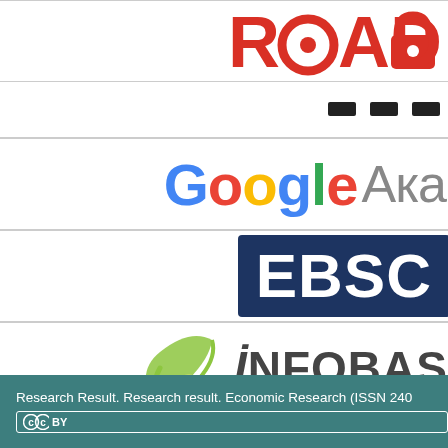[Figure (logo): ROAD logo in red with open-access lock symbol]
[Figure (logo): Partial logo with dark dots/dashes (partially visible)]
[Figure (logo): Google Akademi (Google Scholar in Russian/Turkish) logo with Google multicolor text]
[Figure (logo): EBSCO logo on dark navy rectangle]
[Figure (logo): INFOBASE logo with green leaf swirl]
Research Result. Research result. Economic Research (ISSN 240... (cc) BY